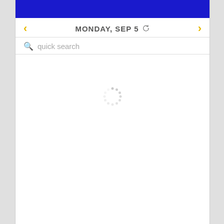MONDAY, SEP 5
quick search
[Figure (other): Loading spinner icon — circular arrangement of dots in gray]